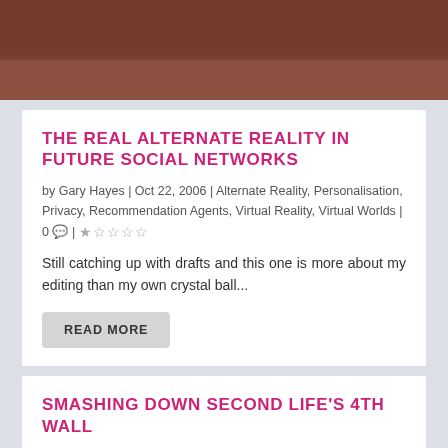[Figure (photo): Top portion of a blog post image showing a character with dark wings in a 3D virtual world environment, brownish-red background]
THE REAL ALTERNATE REALITY IN FUTURE SOCIAL NETWORKS
by Gary Hayes | Oct 22, 2006 | Alternate Reality, Personalisation, Privacy, Recommendation Agents, Virtual Reality, Virtual Worlds | 0 💬 | ★☆☆☆☆
Still catching up with drafts and this one is more about my editing than my own crystal ball...
READ MORE
SMASHING DOWN SECOND LIFE'S 4TH WALL
by Gary Hayes | Jun 24, 2006 | Alternate Reality, Games, Personalisation, Privacy, Recommendation Agents, Virtual Reality | 0 💬 | ☆☆☆☆☆